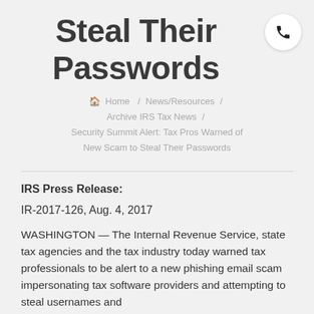Steal Their Passwords
Home / News/Resources / Archive IRS Tax News / Security Summit Alert: Tax Pros Warned of New Scam to Steal Their Passwords
IRS Press Release:
IR-2017-126, Aug. 4, 2017
WASHINGTON — The Internal Revenue Service, state tax agencies and the tax industry today warned tax professionals to be alert to a new phishing email scam impersonating tax software providers and attempting to steal usernames and